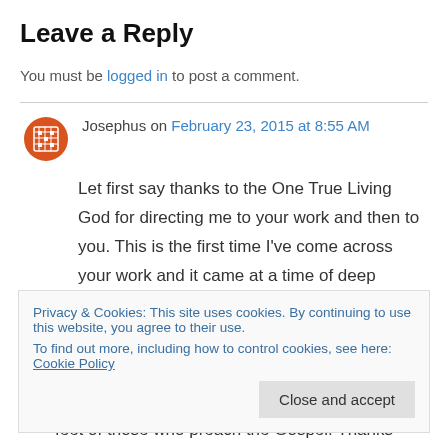Leave a Reply
You must be logged in to post a comment.
Josephus on February 23, 2015 at 8:55 AM
Let first say thanks to the One True Living God for directing me to your work and then to you. This is the first time I’ve come across your work and it came at a time of deep challenge & trial.
Privacy & Cookies: This site uses cookies. By continuing to use this website, you agree to their use.
To find out more, including how to control cookies, see here: Cookie Policy
Close and accept
feet of those who preach the Gospel! Thanks